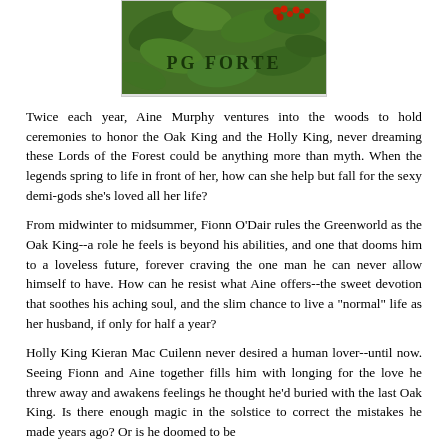[Figure (photo): Book cover image showing holly leaves and red berries with text 'PG FORTE' overlaid on a green background]
Twice each year, Aine Murphy ventures into the woods to hold ceremonies to honor the Oak King and the Holly King, never dreaming these Lords of the Forest could be anything more than myth. When the legends spring to life in front of her, how can she help but fall for the sexy demi-gods she's loved all her life?
From midwinter to midsummer, Fionn O'Dair rules the Greenworld as the Oak King--a role he feels is beyond his abilities, and one that dooms him to a loveless future, forever craving the one man he can never allow himself to have. How can he resist what Aine offers--the sweet devotion that soothes his aching soul, and the slim chance to live a "normal" life as her husband, if only for half a year?
Holly King Kieran Mac Cuilenn never desired a human lover--until now. Seeing Fionn and Aine together fills him with longing for the love he threw away and awakens feelings he thought he'd buried with the last Oak King. Is there enough magic in the solstice to correct the mistakes he made years ago? Or is he doomed to be